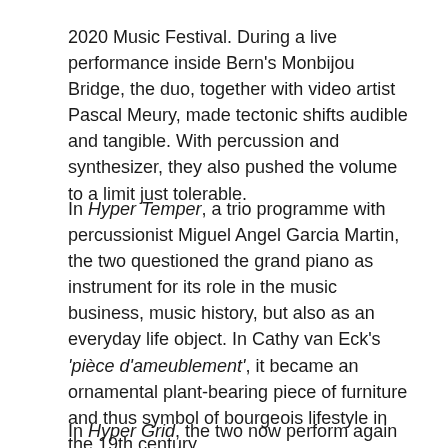2020 Music Festival. During a live performance inside Bern's Monbijou Bridge, the duo, together with video artist Pascal Meury, made tectonic shifts audible and tangible. With percussion and synthesizer, they also pushed the volume to a limit just tolerable.
In Hyper Temper, a trio programme with percussionist Miguel Angel Garcia Martin, the two questioned the grand piano as instrument for its role in the music business, music history, but also as an everyday life object. In Cathy van Eck's 'pièce d'ameublement', it became an ornamental plant-bearing piece of furniture and thus symbol of bourgeois lifestyle in the 19th century.
In Hyper Grid, the two now perform again on their core